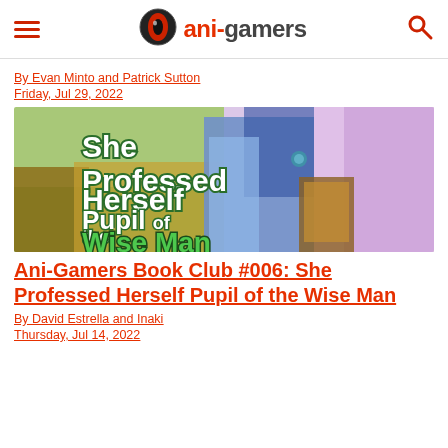ani-gamers
By Evan Minto and Patrick Sutton
Friday, Jul 29, 2022
[Figure (illustration): Book cover of 'She Professed Herself Pupil of the Wise Man' showing anime-style character with purple hair in blue dress and the title text overlaid]
Ani-Gamers Book Club #006: She Professed Herself Pupil of the Wise Man
By David Estrella and Inaki
Thursday, Jul 14, 2022